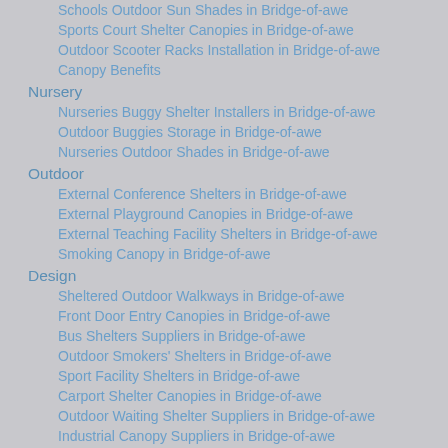Schools Outdoor Sun Shades in Bridge-of-awe
Sports Court Shelter Canopies in Bridge-of-awe
Outdoor Scooter Racks Installation in Bridge-of-awe
Canopy Benefits
Nursery
Nurseries Buggy Shelter Installers in Bridge-of-awe
Outdoor Buggies Storage in Bridge-of-awe
Nurseries Outdoor Shades in Bridge-of-awe
Outdoor
External Conference Shelters in Bridge-of-awe
External Playground Canopies in Bridge-of-awe
External Teaching Facility Shelters in Bridge-of-awe
Smoking Canopy in Bridge-of-awe
Design
Sheltered Outdoor Walkways in Bridge-of-awe
Front Door Entry Canopies in Bridge-of-awe
Bus Shelters Suppliers in Bridge-of-awe
Outdoor Smokers' Shelters in Bridge-of-awe
Sport Facility Shelters in Bridge-of-awe
Carport Shelter Canopies in Bridge-of-awe
Outdoor Waiting Shelter Suppliers in Bridge-of-awe
Industrial Canopy Suppliers in Bridge-of-awe